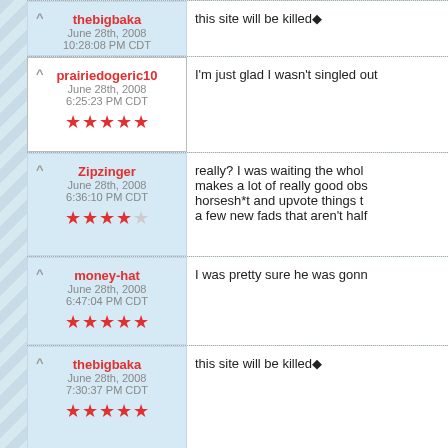thebigbaka | June 28th, 2008 10:28:08 PM CDT | ★★★★★ | this site will be killed◆
prairiedogeric10 | June 28th, 2008 6:25:23 PM CDT | ★★★★★ | I'm just glad I wasn't singled out
Zipzinger | June 28th, 2008 6:36:10 PM CDT | ★★★★☆ | really? I was waiting the whole makes a lot of really good obs horsesh*t and upvote things t a few new fads that aren't half
money-hat | June 28th, 2008 6:47:04 PM CDT | ★★★★★ | I was pretty sure he was gonn
thebigbaka | June 28th, 2008 7:30:37 PM CDT | ★★★★★ | this site will be killed◆